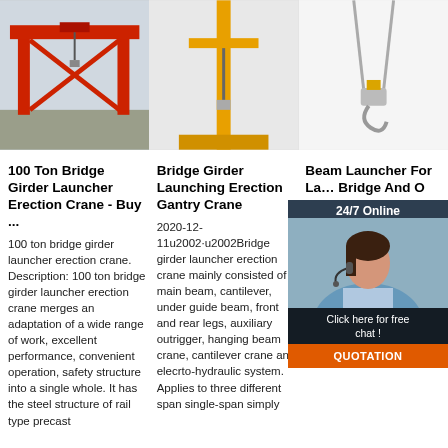[Figure (photo): Red gantry bridge girder launcher crane at a construction site]
[Figure (photo): Yellow bridge girder launching erection gantry crane, front view]
[Figure (photo): Beam launcher crane hook/cable close-up]
100 Ton Bridge Girder Launcher Erection Crane - Buy ...
100 ton bridge girder launcher erection crane. Description: 100 ton bridge girder launcher erection crane merges an adaptation of a wide range of work, excellent performance, convenient operation, safety structure into a single whole. It has the steel structure of rail type precast
Bridge Girder Launching Erection Gantry Crane
2020-12-11u2002·u2002Bridge girder launcher erection crane mainly consisted of main beam, cantilever, under guide beam, front and rear legs, auxiliary outrigger, hanging beam crane, cantilever crane and elecrto-hydraulic system. Applies to three different span single-span simply
Beam Launcher For Large Bridge And O
Beam Launcher for large bridge, highway, overpass, etc. Gantry Crane with Varied Lifting Capacities and Heights. Our range of Truss launching crane/beam launcher is an important machinery for building high rise constructions, bridges etc. These
[Figure (infographic): 24/7 Online chat widget with female customer service representative photo, 'Click here for free chat!' bubble and orange QUOTATION button]